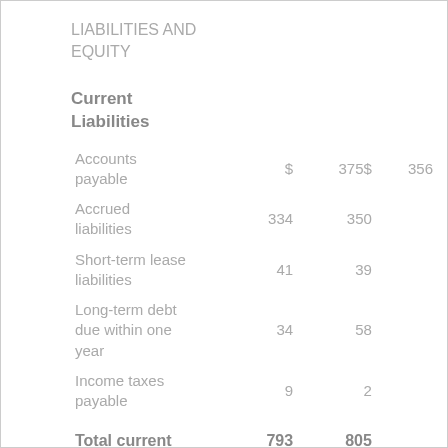LIABILITIES AND EQUITY
Current Liabilities
|  |  |  |  |
| --- | --- | --- | --- |
| Accounts payable | $ | 375$ | 356 |
| Accrued liabilities | 334 | 350 |  |
| Short-term lease liabilities | 41 | 39 |  |
| Long-term debt due within one year | 34 | 58 |  |
| Income taxes payable | 9 | 2 |  |
| Total current | 793 | 805 |  |